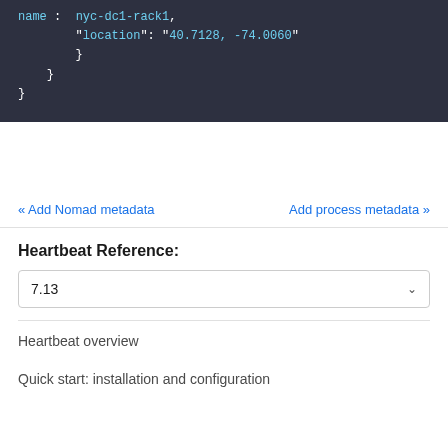[Figure (screenshot): Code block showing JSON with name 'nyc-dc1-rack1' and location '40.7128, -74.0060' with closing braces, dark background]
« Add Nomad metadata
Add process metadata »
Heartbeat Reference:
7.13
Heartbeat overview
Quick start: installation and configuration